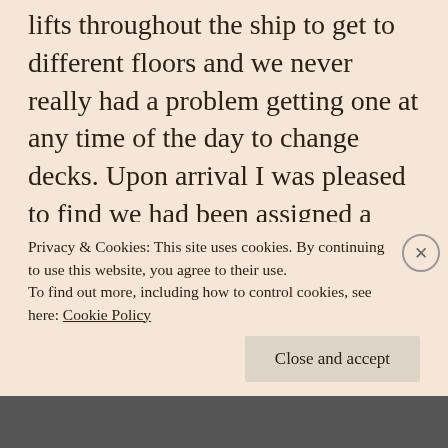lifts throughout the ship to get to different floors and we never really had a problem getting one at any time of the day to change decks. Upon arrival I was pleased to find we had been assigned a room near the lift as per request on booking. The pool deck had enough space to negotiate your way through rows on sunbeds using my walking stick with ease. I cant say I found any mobility related issues on board, which I was surprised at as I had a
Privacy & Cookies: This site uses cookies. By continuing to use this website, you agree to their use.
To find out more, including how to control cookies, see here: Cookie Policy
Close and accept